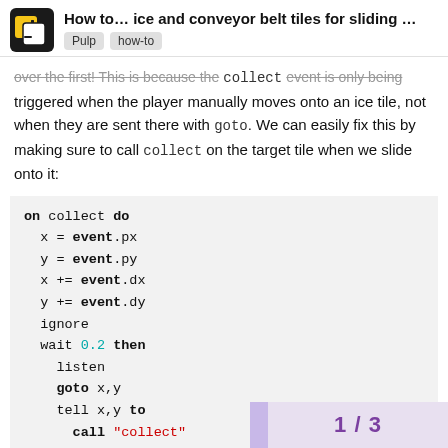How to... ice and conveyor belt tiles for sliding ...
over the first! This is because the collect event is only being triggered when the player manually moves onto an ice tile, not when they are sent there with goto. We can easily fix this by making sure to call collect on the target tile when we slide onto it:
[Figure (screenshot): Code block showing: on collect do / x = event.px / y = event.py / x += event.dx / y += event.dy / ignore / wait 0.2 then / listen / goto x,y / tell x,y to / call "collect" / end / end / end]
1 / 3